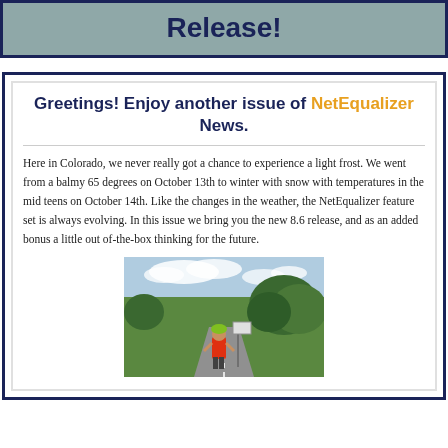Release!
Greetings! Enjoy another issue of NetEqualizer News.
Here in Colorado, we never really got a chance to experience a light frost. We went from a balmy 65 degrees on October 13th to winter with snow with temperatures in the mid teens on October 14th. Like the changes in the weather, the NetEqualizer feature set is always evolving. In this issue we bring you the new 8.6 release, and as an added bonus a little out of-the-box thinking for the future.
[Figure (photo): A person wearing a green helmet and red shirt standing on a road, with green trees and blue sky in the background.]